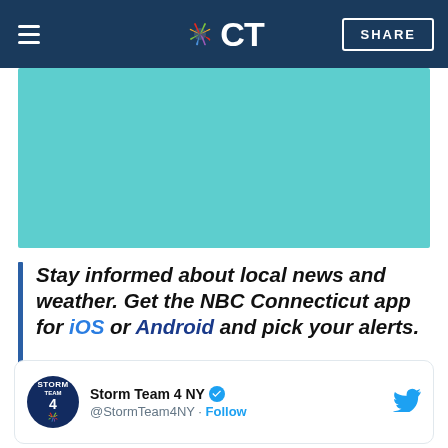NBC Connecticut — navigation bar with hamburger menu, NBC CT logo, and SHARE button
[Figure (illustration): Teal/turquoise placeholder image block]
Stay informed about local news and weather. Get the NBC Connecticut app for iOS or Android and pick your alerts.
[Figure (screenshot): Tweet card from Storm Team 4 NY (@StormTeam4NY) with Follow link and Twitter bird icon]